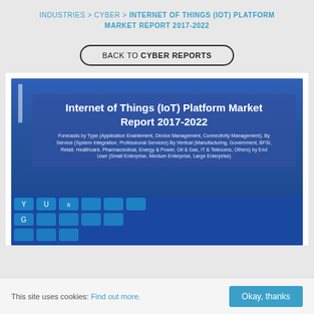INDUSTRIES > CYBER > INTERNET OF THINGS (IOT) PLATFORM MARKET REPORT 2017-2022
BACK TO CYBER REPORTS
[Figure (screenshot): Blue banner showing Internet of Things (IoT) Platform Market Report 2017-2022 cover with subtitle: Forecasts by Type (Application Enablement, Device Management, Connectivity Management). By Service (System Integration, Professional Services) By Vertical (Manufacturing, Government, BFSI, Retail, Healthcare, Pharmaceutical, Energy & Power, Oil & Gas, IT & Telecoms, Others) by End User (Small Enterprise, Medium Enterprise, Large Enterprise). Bottom portion shows a blue keyboard.]
This site uses cookies: Find out more.
Okay, thanks